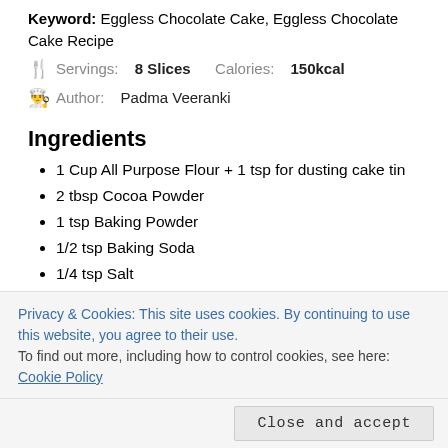Keyword: Eggless Chocolate Cake, Eggless Chocolate Cake Recipe
Servings: 8 Slices   Calories: 150kcal
Author: Padma Veeranki
Ingredients
1 Cup All Purpose Flour + 1 tsp for dusting cake tin
2 tbsp Cocoa Powder
1 tsp Baking Powder
1/2 tsp Baking Soda
1/4 tsp Salt
1/2 Cup Sugar 1 Cup if using Powdered Sugar
1/2 cup Yoghurt
Privacy & Cookies: This site uses cookies. By continuing to use this website, you agree to their use.
To find out more, including how to control cookies, see here:
Cookie Policy
Close and accept
Prep Work: